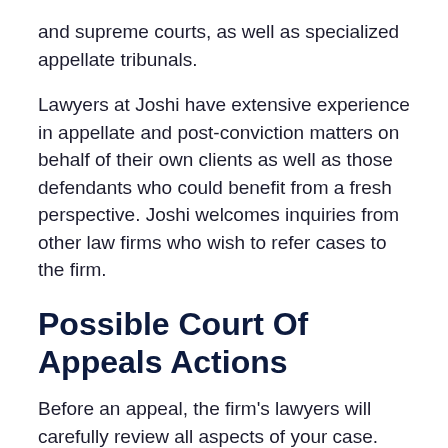and supreme courts, as well as specialized appellate tribunals.
Lawyers at Joshi have extensive experience in appellate and post-conviction matters on behalf of their own clients as well as those defendants who could benefit from a fresh perspective. Joshi welcomes inquiries from other law firms who wish to refer cases to the firm.
Possible Court Of Appeals Actions
Before an appeal, the firm’s lawyers will carefully review all aspects of your case. They will comb through the trial record, research